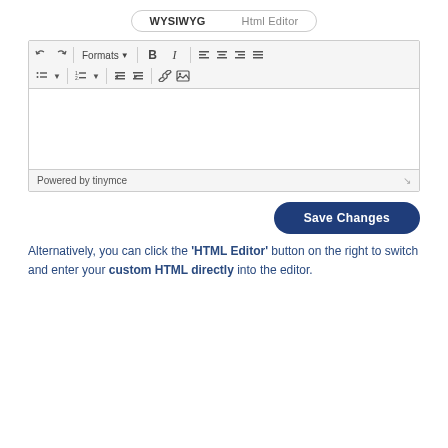[Figure (screenshot): Tab switcher with 'WYSIWYG' active tab and 'Html Editor' inactive tab, inside a pill-shaped border]
[Figure (screenshot): TinyMCE WYSIWYG editor with toolbar rows showing formatting buttons (undo, redo, Formats, B, I, alignment icons, list icons, link, image), an empty editing area, and a footer saying 'Powered by tinymce']
[Figure (screenshot): Dark blue 'Save Changes' button, pill-shaped, right-aligned]
Alternatively, you can click the 'HTML Editor' button on the right to switch and enter your custom HTML directly into the editor.